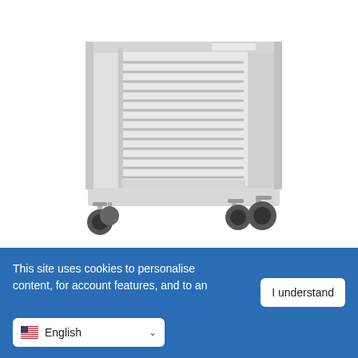[Figure (photo): A light gray tray trolley / meal delivery cart on four black rubber caster wheels. The cart has open front and back sides with a rack of approximately 14 tray slides on the right interior side, and flat gray side panels. The structure has aluminum-look vertical corner posts.]
[Figure (photo): Three small thumbnail images partially visible showing product views, with rounded rectangle outlines.]
This site uses cookies to personalise content, for account features, and to an... I understand